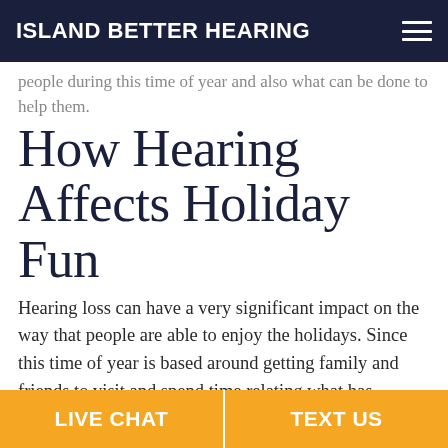ISLAND BETTER HEARING
people during this time of year and also what can be done to help them.
How Hearing Affects Holiday Fun
Hearing loss can have a very significant impact on the way that people are able to enjoy the holidays. Since this time of year is based around getting family and friends to visit and spend time relating what has happened throughout the year, conversations are one of the biggest ways that people can enjoy the
LIVE CHAT | TEXT US